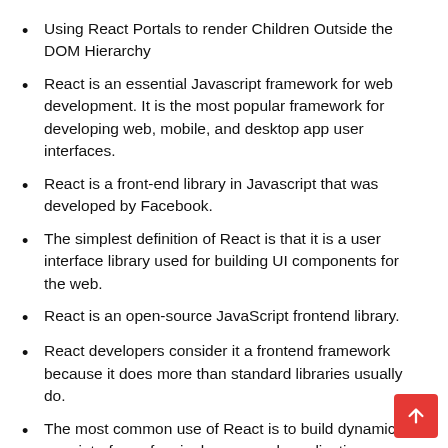Using React Portals to render Children Outside the DOM Hierarchy
React is an essential Javascript framework for web development. It is the most popular framework for developing web, mobile, and desktop app user interfaces.
React is a front-end library in Javascript that was developed by Facebook.
The simplest definition of React is that it is a user interface library used for building UI components for the web.
React is an open-source JavaScript frontend library.
React developers consider it a frontend framework because it does more than standard libraries usually do.
The most common use of React is to build dynamic user interfaces for single-page web applications.
React encourages engineers to write code using a